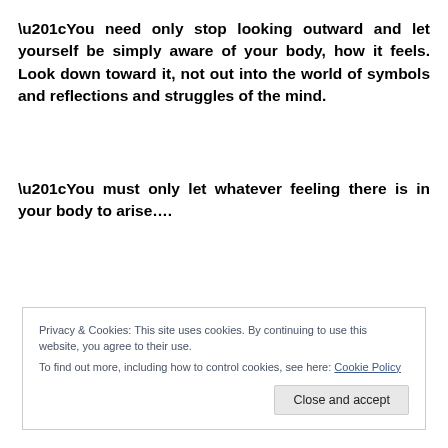“You need only stop looking outward and let yourself be simply aware of your body, how it feels. Look down toward it, not out into the world of symbols and reflections and struggles of the mind.
“You must only let whatever feeling there is in your body to arise….
Privacy & Cookies: This site uses cookies. By continuing to use this website, you agree to their use.
To find out more, including how to control cookies, see here: Cookie Policy